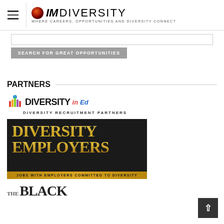[Figure (logo): IMDiversity logo with sphere icon and tagline 'WHERE CAREERS, OPPORTUNITIES AND DIVERSITY CONNECT']
SEARCH FOR GREAT OPPORTUNITIES
PARTNERS
[Figure (logo): DiversityInEd - Diversity Recruitment Partners logo with colorful bar-chart icon]
[Figure (logo): Diversity Employers - Jobs with employers committed to diversity logo with gold metallic text on dark background]
[Figure (logo): The Black (partial logo, text cut off at bottom)]